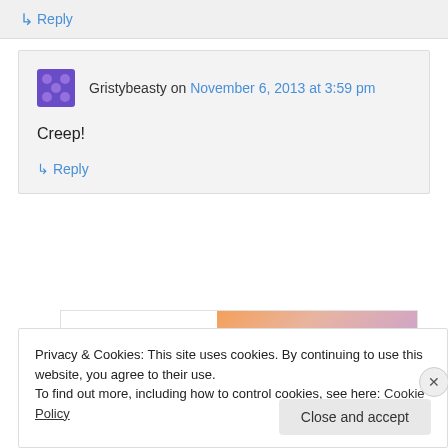↳ Reply
Gristybeasty on November 6, 2013 at 3:59 pm
Creep!
↳ Reply
[Figure (other): WordPress VIP advertisement banner with gradient background and 'Learn more →' button]
REPORT THIS AD
Privacy & Cookies: This site uses cookies. By continuing to use this website, you agree to their use. To find out more, including how to control cookies, see here: Cookie Policy
Close and accept